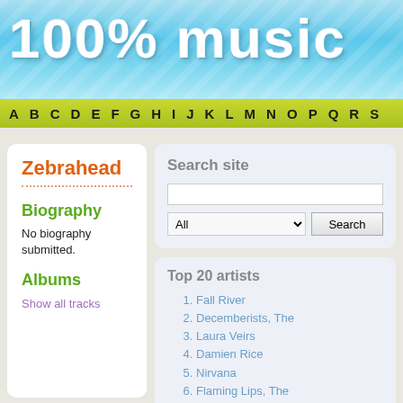100% music
A B C D E F G H I J K L M N O P Q R S
Zebrahead
Biography
No biography submitted.
Albums
Show all tracks
Search site
Top 20 artists
1. Fall River
2. Decemberists, The
3. Laura Veirs
4. Damien Rice
5. Nirvana
6. Flaming Lips, The
7. Kaiser Chiefs
8. Bedouin Soundclash